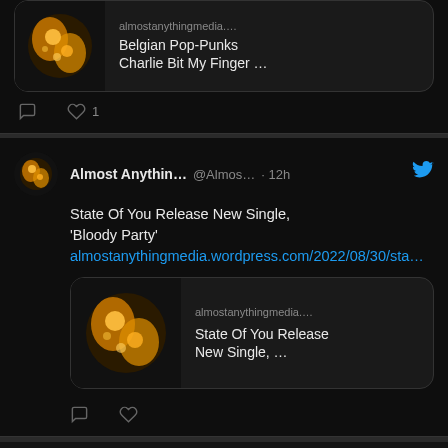[Figure (screenshot): Partial Twitter/social media feed showing two tweet cards from Almost Anything Media. First tweet (partial top) shows a link preview for 'Belgian Pop-Punks Charlie Bit My Finger ...' with logo image and heart/comment icons (1 like). Second tweet shows 'State Of You Release New Single, Bloody Party' with a link to almostanythingmedia.wordpress.com/2022/08/30/sta... and a link preview card. Bottom bar has 'View more on Twitter' button.]